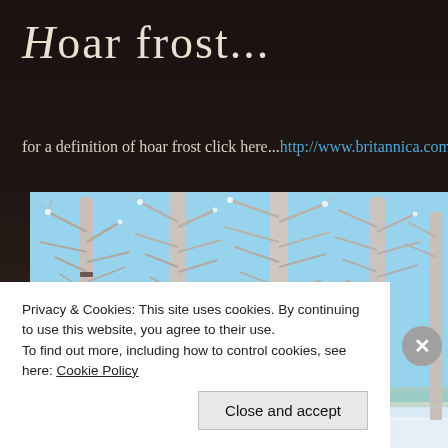Hoar frost...
for a definition of hoar frost click here...http://www.britannica.com
[Figure (photo): Winter scene showing frost-covered birch trees with bare branches against a blue sky, with snow-covered ground and a frozen landscape in the background.]
Privacy & Cookies: This site uses cookies. By continuing to use this website, you agree to their use.
To find out more, including how to control cookies, see here: Cookie Policy
Close and accept